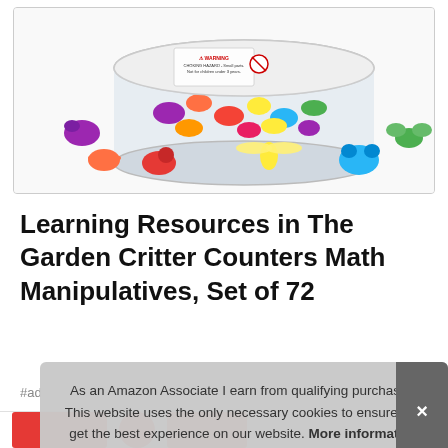[Figure (photo): Photo of Learning Resources In The Garden Critter Counters Math Manipulatives product – a clear cylindrical container filled with colorful small plastic animal/bug figures (critters) in purple, orange, red, yellow, blue, green, with individual critters arranged around the container on a white background.]
Learning Resources in The Garden Critter Counters Math Manipulatives, Set of 72
#ad
As an Amazon Associate I earn from qualifying purchases. This website uses the only necessary cookies to ensure you get the best experience on our website. More information